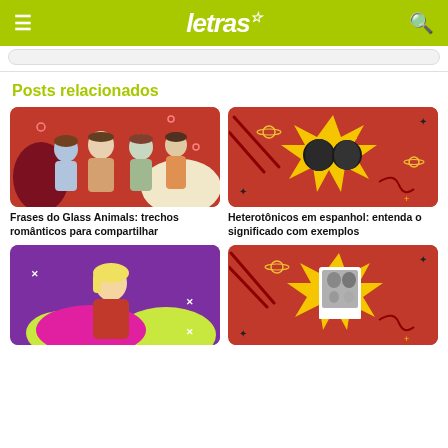letras
Posts relacionados
[Figure (photo): Glass Animals band photo on red decorative background]
Frases do Glass Animals: trechos românticos para compartilhar
[Figure (illustration): Heterotônicos illustration with two faces on yellow starburst on red background]
Heterotônicos em espanhol: entenda o significado com exemplos
[Figure (photo): Woman on purple background with yellow-green blobs]
[Figure (photo): Family photo polaroid on yellow starburst on red background]